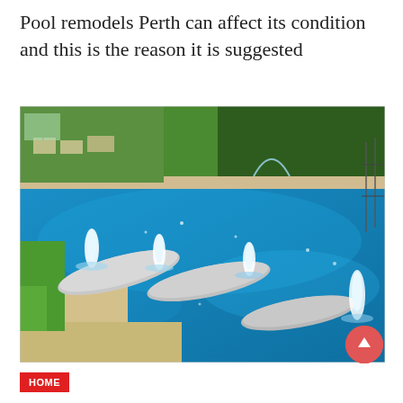Pool remodels Perth can affect its condition and this is the reason it is suggested
[Figure (photo): Luxury swimming pool with water jet lounge chairs in blue water, surrounded by a stone deck and green landscaping, with patio furniture and trees in the background.]
HOME